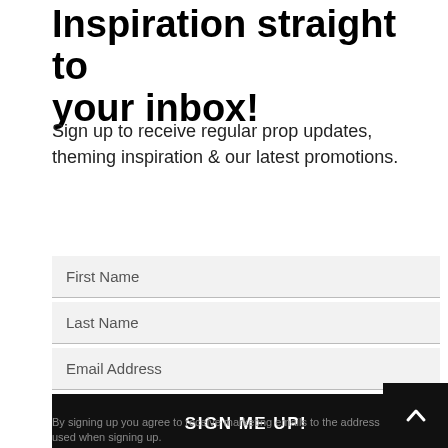Inspiration straight to your inbox!
Sign up to receive regular prop updates, theming inspiration & our latest promotions.
First Name
Last Name
Email Address
SIGN ME UP!
By signing up you agree to receive marketing emails to the address used when signing up.